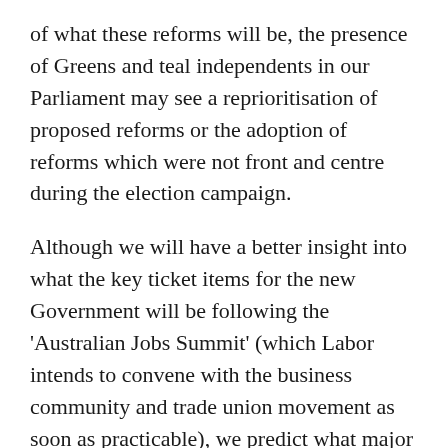of what these reforms will be, the presence of Greens and teal independents in our Parliament may see a reprioritisation of proposed reforms or the adoption of reforms which were not front and centre during the election campaign.
Although we will have a better insight into what the key ticket items for the new Government will be following the 'Australian Jobs Summit' (which Labor intends to convene with the business community and trade union movement as soon as practicable), we predict what major reforms will be trumpeted in the short to medium term future below.
Au revoir ABCC (again)